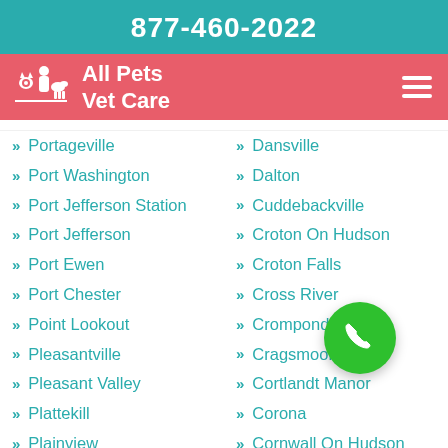877-460-2022
All Pets Vet Care
Portageville
Port Washington
Port Jefferson Station
Port Jefferson
Port Ewen
Port Chester
Point Lookout
Pleasantville
Pleasant Valley
Plattekill
Plainview
Pittsford
Pine Bush
Dansville
Dalton
Cuddebackville
Croton On Hudson
Croton Falls
Cross River
Crompond
Cragsmoor
Cortlandt Manor
Corona
Cornwall On Hudson
Cornwall
Coram